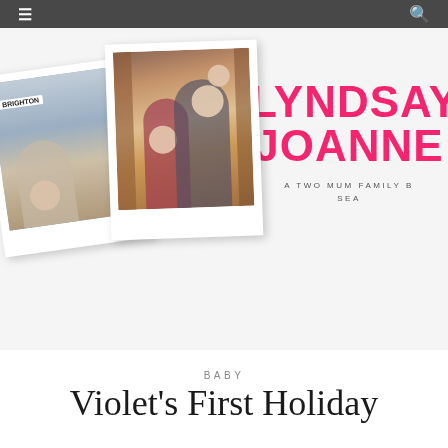☰  🔍
[Figure (photo): Blog header banner with two polaroid-style photos of a family (mothers with baby/toddler, one at Brighton seafront, one at a doorstep), alongside the blog logo text 'LYNDSAY JOANNE' in bold pink and tagline 'A TWO MUM FAMILY B... SEA']
BABY
Violet's First Holiday